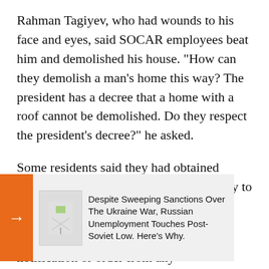Rahman Tagiyev, who had wounds to his face and eyes, said SOCAR employees beat him and demolished his house. "How can they demolish a man's home this way? The president has a decree that a home with a roof cannot be demolished. Do they respect the president's decree?" he asked.
Some residents said they had obtained relevant documents from the municipality to construct their one- or two-storey homes.
They also said they had received no notification or order from any
[Figure (other): Orange arrow widget with a broken image thumbnail and text: 'Despite Sweeping Sanctions Over The Ukraine War, Russian Unemployment Touches Post-Soviet Low. Here's Why.']
Some homes w and documents
"No one has to